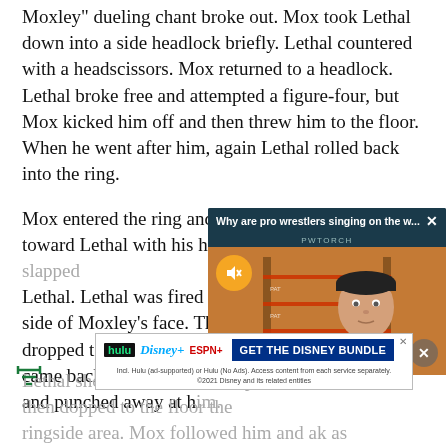Moxley" dueling chant broke out. Mox took Lethal down into a side headlock briefly. Lethal countered with a headscissors. Mox returned to a headlock. Lethal broke free and attempted a figure-four, but Mox kicked him off and then threw him to the floor. When he went after him, again Lethal rolled back into the ring.
Mox entered the ring and aggressively walked toward Lethal with his hands b[ehind his back, then a "Mox]/Lethal. Lethal was fired [up and slapped the right] side of Moxley's face. Th[e slap rocked Moxley who] dropped to one knee. Le[thal picked up Moxley and] came back with a Germ[an suplex. Moxley went] and punched away at h[im.]
[Figure (screenshot): Video popup overlay with title 'Why are pro wrestlers singing on the w...' and PWTORCH label, showing a video thumbnail with a wrestling ring background and a man (commentator) in a black cap, with a muted audio button and close button.]
[Figure (screenshot): Advertisement banner for Disney Bundle featuring Hulu, Disney+, ESPN+ logos and 'GET THE DISNEY BUNDLE' call to action with fine print about subscription terms. ©2021 Disney and its related entities.]
Lethal shoved Mox off [the ropes and] then do[pped to the floor outside] the ringside [area. Mox followed him and] ak as Ross said it's anyone's ballgame. [c/ss]